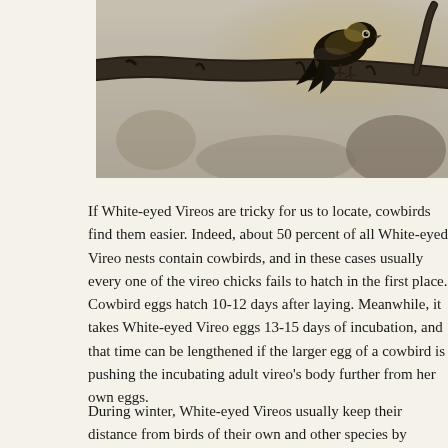[Figure (photo): Close-up photograph of a small bird (White-eyed Vireo) perched on a tree branch, backlit with warm light, showing dark plumage and wing feathers.]
If White-eyed Vireos are tricky for us to locate, cowbirds find them easier. Indeed, about 50 percent of all White-eyed Vireo nests contain cowbirds, and in these cases usually every one of the vireo chicks fails to hatch in the first place. Cowbird eggs hatch 10-12 days after laying. Meanwhile, it takes White-eyed Vireo eggs 13-15 days of incubation, and that time can be lengthened if the larger egg of a cowbird is pushing the incubating adult vireo's body further from her own eggs.
During winter, White-eyed Vireos usually keep their distances from birds of their own and other species by partitioning their habitat...